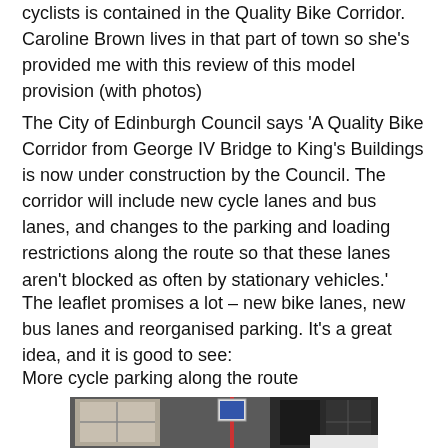cyclists is contained in the Quality Bike Corridor. Caroline Brown lives in that part of town so she's provided me with this review of this model provision (with photos)
The City of Edinburgh Council says 'A Quality Bike Corridor from George IV Bridge to King's Buildings is now under construction by the Council. The corridor will include new cycle lanes and bus lanes, and changes to the parking and loading restrictions along the route so that these lanes aren't blocked as often by stationary vehicles.'
The leaflet promises a lot – new bike lanes, new bus lanes and reorganised parking. It's a great idea, and it is good to see:
More cycle parking along the route
[Figure (photo): Street-level photograph showing a stone building facade with white-framed windows, a street sign/pole, and a dark door, with a white car partially visible at the bottom right.]